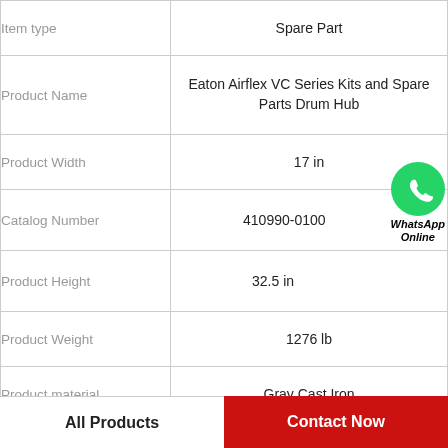| Attribute | Value |
| --- | --- |
| Item type | Spare Part |
| Product Name | Eaton Airflex VC Series Kits and Spare Parts Drum Hub |
| Product Width | 17 in |
| Catalog Number | 410990-0100 |
| Product Height | 32.5 in |
| Product Weight | 1276 lb |
| Product material | Gray Cast Iron |
| Product Length/Depth | 32.5 in |
[Figure (logo): WhatsApp green circle logo with phone icon, and text 'WhatsApp Online' in bold italic]
All Products
Contact Now